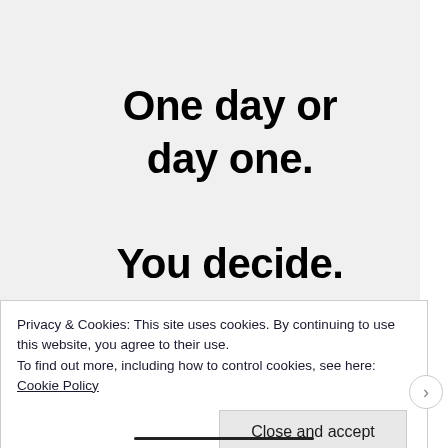One day or day one. You decide.
Privacy & Cookies: This site uses cookies. By continuing to use this website, you agree to their use.
To find out more, including how to control cookies, see here: Cookie Policy
Close and accept